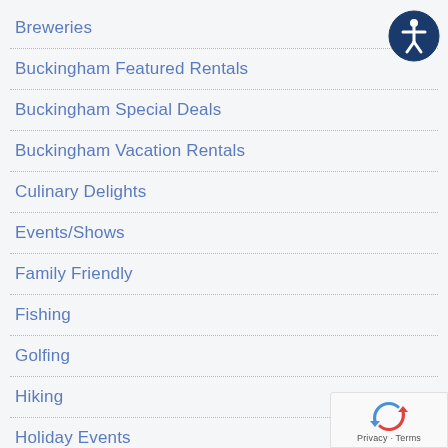Breweries
Buckingham Featured Rentals
Buckingham Special Deals
Buckingham Vacation Rentals
Culinary Delights
Events/Shows
Family Friendly
Fishing
Golfing
Hiking
Holiday Events
Live Music/Shows
Local Spots